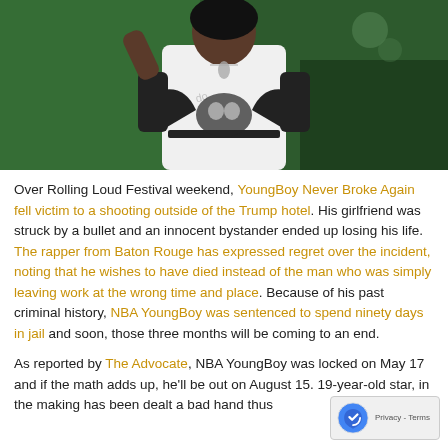[Figure (photo): A performer in a white and black patterned hoodie at a concert, hand raised toward face, green stage lighting in background.]
Over Rolling Loud Festival weekend, YoungBoy Never Broke Again fell victim to a shooting outside of the Trump hotel. His girlfriend was struck by a bullet and an innocent bystander ended up losing his life. The rapper from Baton Rouge has expressed regret over the incident, noting that he wishes to have died instead of the man who was simply leaving work at the wrong time and place. Because of his past criminal history, NBA YoungBoy was sentenced to spend ninety days in jail and soon, those three months will be coming to an end.
As reported by The Advocate, NBA YoungBoy was locked on May 17 and if the math adds up, he'll be out on August 15. 19-year-old star, in the making has been dealt a bad hand thus